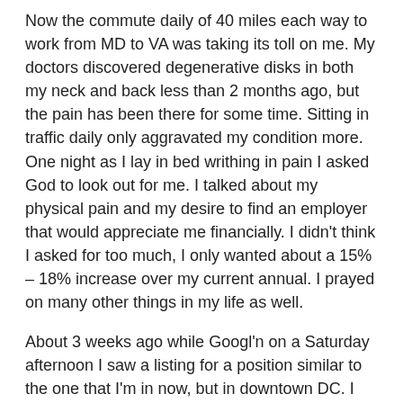Now the commute daily of 40 miles each way to work from MD to VA was taking its toll on me. My doctors discovered degenerative disks in both my neck and back less than 2 months ago, but the pain has been there for some time. Sitting in traffic daily only aggravated my condition more. One night as I lay in bed writhing in pain I asked God to look out for me. I talked about my physical pain and my desire to find an employer that would appreciate me financially. I didn't think I asked for too much, I only wanted about a 15% – 18% increase over my current annual. I prayed on many other things in my life as well.
About 3 weeks ago while Googl'n on a Saturday afternoon I saw a listing for a position similar to the one that I'm in now, but in downtown DC. I attached my resume, hit the submit button and received a confirmation as with tons of jobs I've applied for in the past. A week later I received a phone call from the HR representative. From there I didn't even...